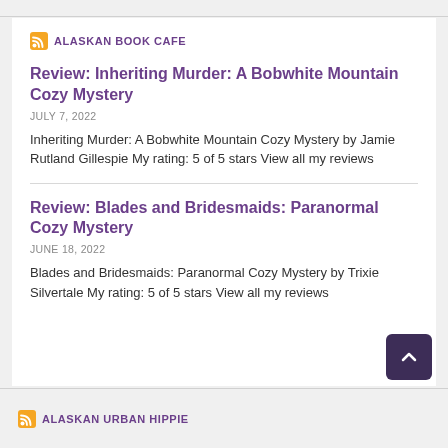ALASKAN BOOK CAFE
Review: Inheriting Murder: A Bobwhite Mountain Cozy Mystery
JULY 7, 2022
Inheriting Murder: A Bobwhite Mountain Cozy Mystery by Jamie Rutland Gillespie My rating: 5 of 5 stars View all my reviews
Review: Blades and Bridesmaids: Paranormal Cozy Mystery
JUNE 18, 2022
Blades and Bridesmaids: Paranormal Cozy Mystery by Trixie Silvertale My rating: 5 of 5 stars View all my reviews
ALASKAN URBAN HIPPIE